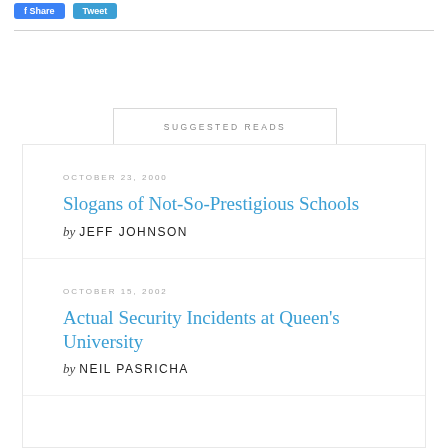[Figure (other): Social share buttons: Facebook (blue) and Twitter (blue)]
SUGGESTED READS
OCTOBER 23, 2000
Slogans of Not-So-Prestigious Schools
by JEFF JOHNSON
OCTOBER 15, 2002
Actual Security Incidents at Queen's University
by NEIL PASRICHA